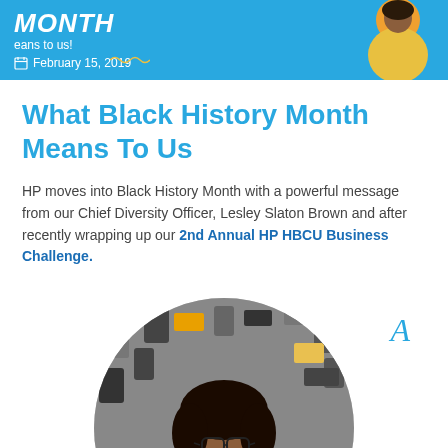[Figure (photo): Blue banner header with 'MONTH' text and 'means to us!' text on the left side, with a woman in a yellow sweater visible on the right side of the banner. A calendar icon and date 'February 15, 2019' are shown in the lower left area of the banner.]
What Black History Month Means To Us
HP moves into Black History Month with a powerful message from our Chief Diversity Officer, Lesley Slaton Brown and after recently wrapping up our 2nd Annual HP HBCU Business Challenge.
[Figure (photo): Circular cropped photo of a smiling Black woman with glasses and hoop earrings, wearing a light blue blouse, posed with arms spread wide in front of a background filled with various electronic devices and cell phones.]